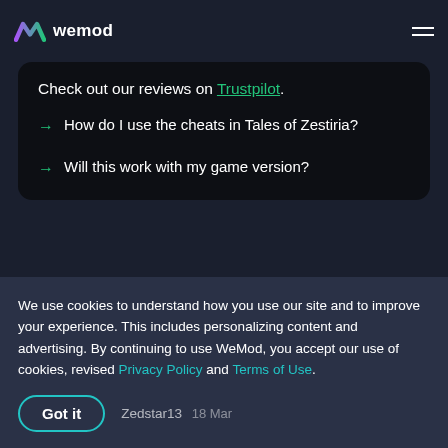wemod
because of our community of millions of gamers around the world. We are 100% supported by WeMod Pro subscribers.
Check out our reviews on Trustpilot.
How do I use the cheats in Tales of Zestiria?
Will this work with my game version?
Comments
We use cookies to understand how you use our site and to improve your experience. This includes personalizing content and advertising. By continuing to use WeMod, you accept our use of cookies, revised Privacy Policy and Terms of Use.
Got it
Zedstar13  18 Mar
:) really great